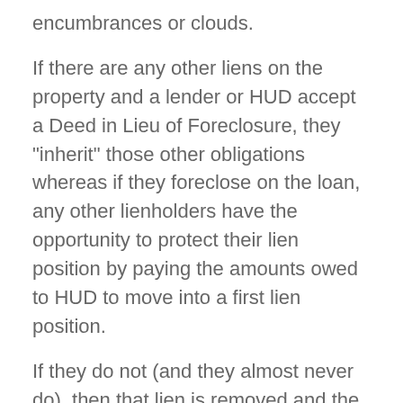encumbrances or clouds.
If there are any other liens on the property and a lender or HUD accept a Deed in Lieu of Foreclosure, they "inherit" those other obligations whereas if they foreclose on the loan, any other lienholders have the opportunity to protect their lien position by paying the amounts owed to HUD to move into a first lien position.
If they do not (and they almost never do), then that lien is removed and the Deed upon sale goes to the lender or to HUD minus the other liens. I don't know what steps you took with the servicer to be